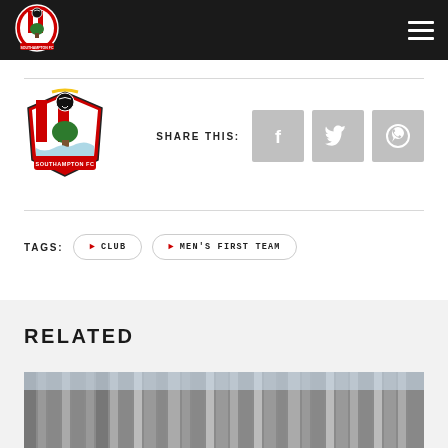Southampton FC navigation bar with logo and hamburger menu
[Figure (logo): Southampton FC club crest/badge logo]
SHARE THIS:
[Figure (illustration): Facebook share button icon]
[Figure (illustration): Twitter share button icon]
[Figure (illustration): WhatsApp share button icon]
CLUB
MEN'S FIRST TEAM
RELATED
[Figure (photo): Partially visible building/stadium exterior photograph]